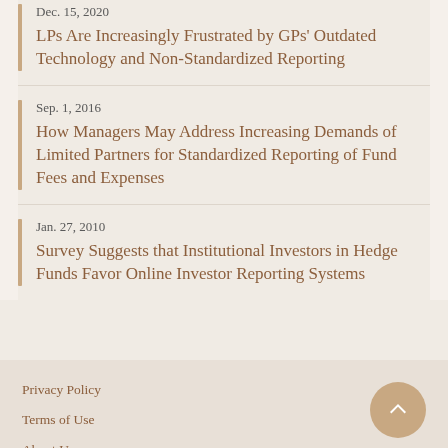Dec. 15, 2020
LPs Are Increasingly Frustrated by GPs' Outdated Technology and Non-Standardized Reporting
Sep. 1, 2016
How Managers May Address Increasing Demands of Limited Partners for Standardized Reporting of Fund Fees and Expenses
Jan. 27, 2010
Survey Suggests that Institutional Investors in Hedge Funds Favor Online Investor Reporting Systems
Privacy Policy
Terms of Use
About Us